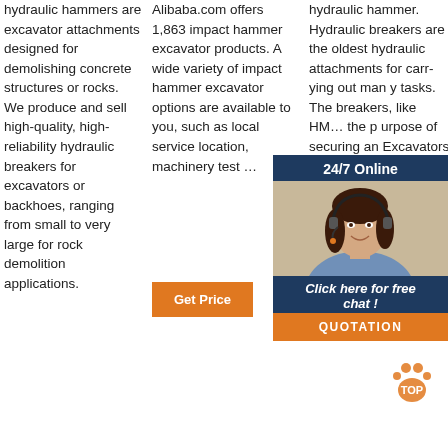hydraulic hammers are excavator attachments designed for demolishing concrete structures or rocks. We produce and sell high-quality, high-reliability hydraulic breakers for excavators or backhoes, ranging from small to very large for rock demolition applications.
Get Price
Alibaba.com offers 1,863 impact hammer excavator products. A wide variety of impact hammer excavator options are available to you, such as local service location, machinery test …
Get Price
hydraulic hammer. Hydraulic breakers are the oldest hydraulic attachments for carrying out many tasks. The breakers, like HM ... used for the purpose of securing an Excavators hydraulic hammer, as a device intended to break any kind of rock or concrete with any hardness or physical property.
[Figure (infographic): Chat widget overlay with dark blue background, '24/7 Online' header, photo of a smiling woman with headset, 'Click here for free chat!' CTA text, and an orange QUOTATION button]
[Figure (logo): Orange TOP badge/logo with paw print in lower right corner of page]